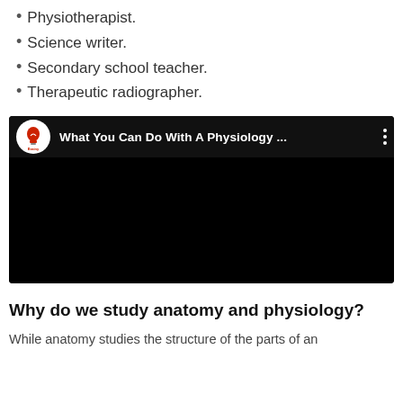Physiotherapist.
Science writer.
Secondary school teacher.
Therapeutic radiographer.
[Figure (screenshot): YouTube-style video thumbnail with channel logo (Brainy series) and title 'What You Can Do With A Physiology ...' on a black background with a three-dot menu icon.]
Why do we study anatomy and physiology?
While anatomy studies the structure of the parts of an